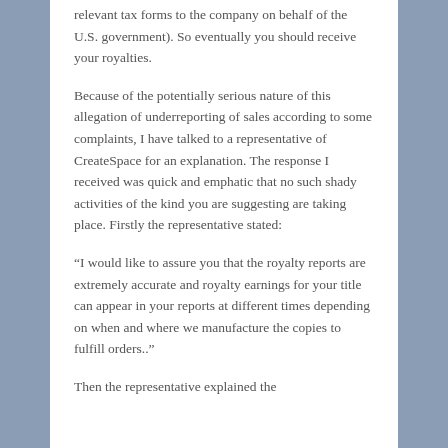relevant tax forms to the company on behalf of the U.S. government). So eventually you should receive your royalties.
Because of the potentially serious nature of this allegation of underreporting of sales according to some complaints, I have talked to a representative of CreateSpace for an explanation. The response I received was quick and emphatic that no such shady activities of the kind you are suggesting are taking place. Firstly the representative stated:
“I would like to assure you that the royalty reports are extremely accurate and royalty earnings for your title can appear in your reports at different times depending on when and where we manufacture the copies to fulfill orders..”
Then the representative explained the